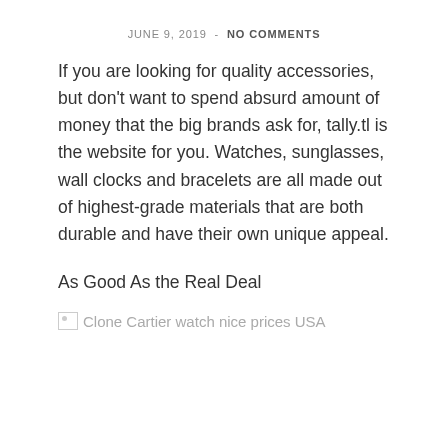JUNE 9, 2019  -  NO COMMENTS
If you are looking for quality accessories, but don't want to spend absurd amount of money that the big brands ask for, tally.tl is the website for you. Watches, sunglasses, wall clocks and bracelets are all made out of highest-grade materials that are both durable and have their own unique appeal.
As Good As the Real Deal
[Figure (photo): Broken image placeholder labeled 'Clone Cartier watch nice prices USA']